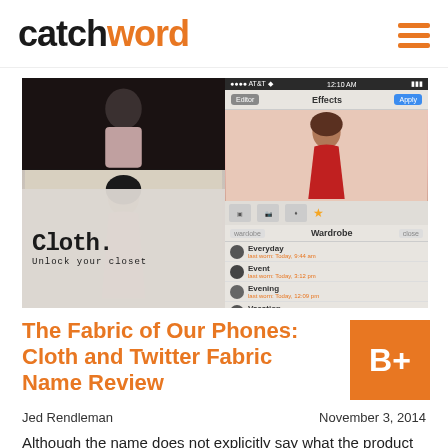catchword
[Figure (screenshot): Two screenshots of the Cloth app showing a woman in a pink dress, a woman in a red dress, and wardrobe categories (Everyday, Event, Evening, Vacation)]
The Fabric of Our Phones: Cloth and Twitter Fabric Name Review
B+
Jed Rendleman    November 3, 2014
Although the name does not explicitly say what the product does, as soon as I heard